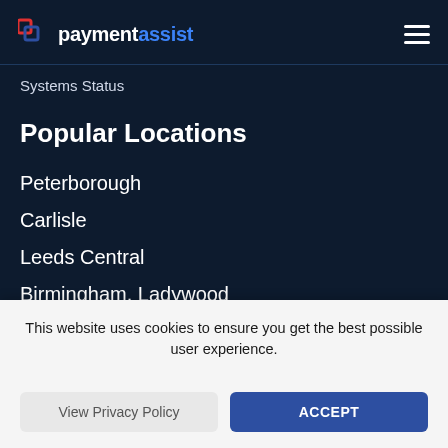payment assist
Systems Status
Popular Locations
Peterborough
Carlisle
Leeds Central
Birmingham, Ladywood
This website uses cookies to ensure you get the best possible user experience.
View Privacy Policy
ACCEPT